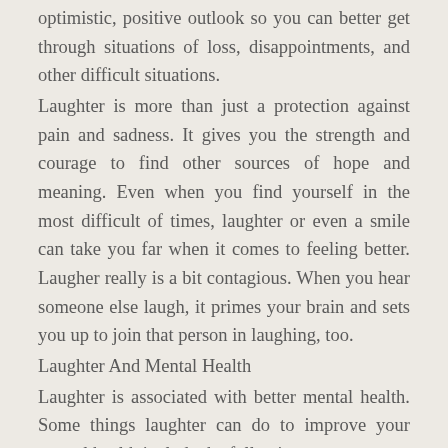optimistic, positive outlook so you can better get through situations of loss, disappointments, and other difficult situations.
Laughter is more than just a protection against pain and sadness. It gives you the strength and courage to find other sources of hope and meaning. Even when you find yourself in the most difficult of times, laughter or even a smile can take you far when it comes to feeling better. Laugher really is a bit contagious. When you hear someone else laugh, it primes your brain and sets you up to join that person in laughing, too.
Laughter And Mental Health
Laughter is associated with better mental health. Some things laughter can do to improve your mental health include the following:
• Laughter allows you to relax. A good laugh can lessen stress and increase your energy levels so that you can remain focused and get more things